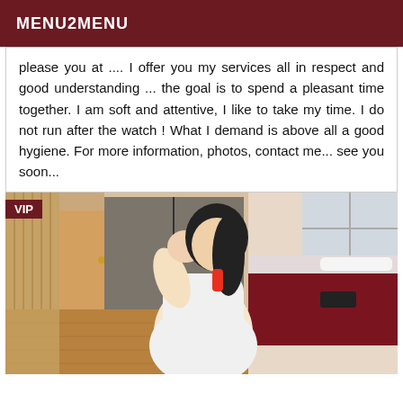MENU2MENU
please you at .... I offer you my services all in respect and good understanding ... the goal is to spend a pleasant time together. I am soft and attentive, I like to take my time. I do not run after the watch ! What I demand is above all a good hygiene. For more information, photos, contact me... see you soon...
[Figure (photo): Photo of a woman in a white outfit taking a mirror selfie in a bedroom, with a VIP badge overlay in the top left corner]